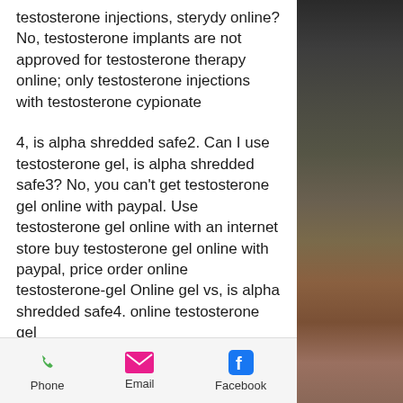testosterone injections, sterydy online? No, testosterone implants are not approved for testosterone therapy online; only testosterone injections with testosterone cypionate
4, is alpha shredded safe2. Can I use testosterone gel, is alpha shredded safe3? No, you can't get testosterone gel online with paypal. Use testosterone gel online with an internet store buy testosterone gel online with paypal, price order online testosterone-gel Online gel vs, is alpha shredded safe4. online testosterone gel
5. Can I use testosterone gel tablets, is alpha shredded safe5? No, testosterone is absorbed through the skin and no tablet product can be delivered with testosterone
Phone   Email   Facebook
[Figure (photo): Right side panel showing vegetables/plants background image in dark tones]